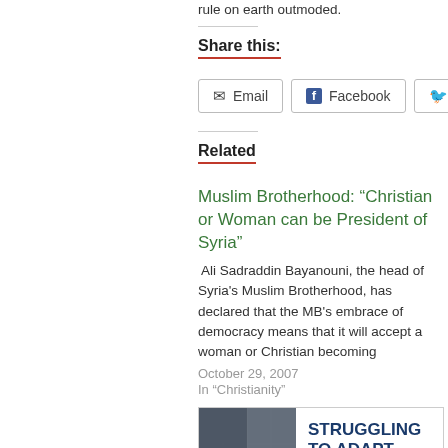rule on earth outmoded.
Share this:
Email  Facebook  Twitter
Related
Muslim Brotherhood: “Christian or Woman can be President of Syria”
Ali Sadraddin Bayanouni, the head of Syria's Muslim Brotherhood, has declared that the MB's embrace of democracy means that it will accept a woman or Christian becoming
October 29, 2007
In "Christianity"
[Figure (illustration): Book cover for 'Struggling to Adapt: The Muslim Brotherhood in a New Syria' by Aron Lund]